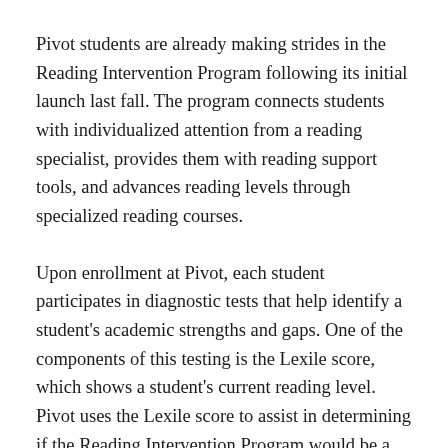Pivot students are already making strides in the Reading Intervention Program following its initial launch last fall. The program connects students with individualized attention from a reading specialist, provides them with reading support tools, and advances reading levels through specialized reading courses.
Upon enrollment at Pivot, each student participates in diagnostic tests that help identify a student's academic strengths and gaps. One of the components of this testing is the Lexile score, which shows a student's current reading level. Pivot uses the Lexile score to assist in determining if the Reading Intervention Program would be a beneficial tool to support students who may need additional assistance to read at